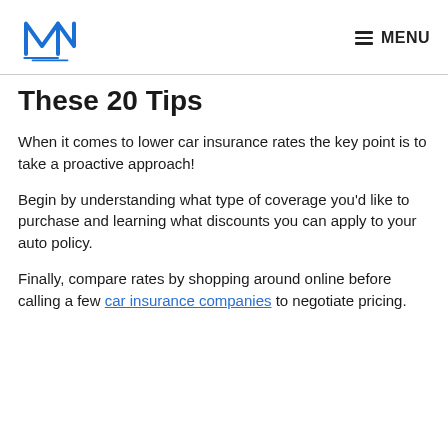MM logo | MENU
These 20 Tips
When it comes to lower car insurance rates the key point is to take a proactive approach!
Begin by understanding what type of coverage you'd like to purchase and learning what discounts you can apply to your auto policy.
Finally, compare rates by shopping around online before calling a few car insurance companies to negotiate pricing.